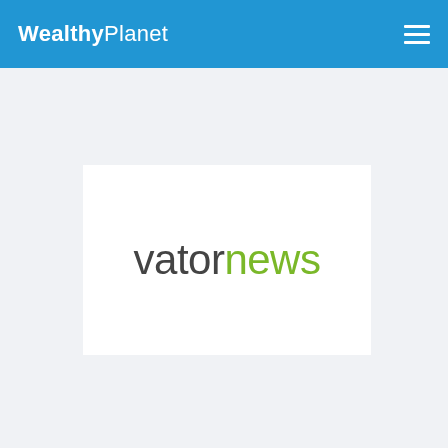WealthyPlanet
[Figure (logo): Vator News logo — 'vator' in dark gray and 'news' in green, displayed on a white rectangular background]